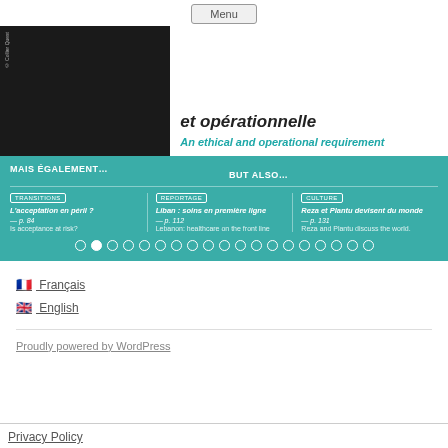Menu
[Figure (screenshot): Banner image with dark photo on left and white text box on right showing partial French title 'et opérationnelle' and English subtitle 'An ethical and operational requirement']
[Figure (infographic): Teal section with 'MAIS ÉGALEMENT... / BUT ALSO...' heading and three article columns: TRANSITIONS - L'acceptation en péril? p.84 Is acceptance at risk?; REPORTAGE - Liban: soins en première ligne p.112 Lebanon: healthcare on the front line; CULTURE - Reza et Plantu devisent du monde p.131 Reza and Plantu discuss the world. Navigation dots below.]
🇫🇷 Français
🇬🇧 English
Proudly powered by WordPress
Privacy Policy